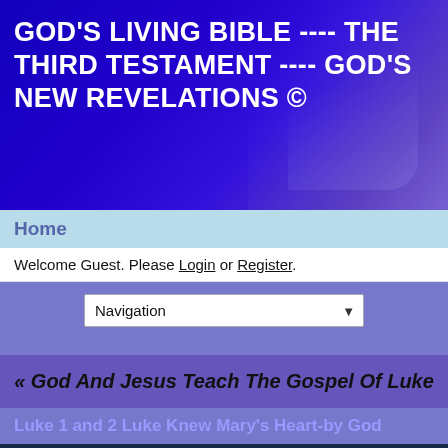GOD'S LIVING BIBLE ---- THE THIRD TESTAMENT ---- GOD'S NEW REVELATIONS ©
Home
Welcome Guest. Please Login or Register.
[Figure (screenshot): Navigation dropdown selector]
« God And Jesus Teach The Gospel Of Luke
Luke 1 and 2 Luke Knew Mary's Heart-by God
[Figure (screenshot): Thread Options dropdown and Search input with button]
[Figure (screenshot): Pagination controls: lock icon, « Prev, page 1, Next »]
Anne Terri